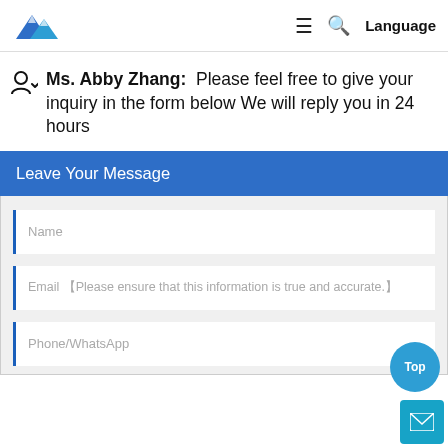[Figure (logo): Blue mountain peaks logo]
Ms. Abby Zhang:  Please feel free to give your inquiry in the form below We will reply you in 24 hours
Leave Your Message
Name
Email 【Please ensure that this information is true and accurate.】
Phone/WhatsApp